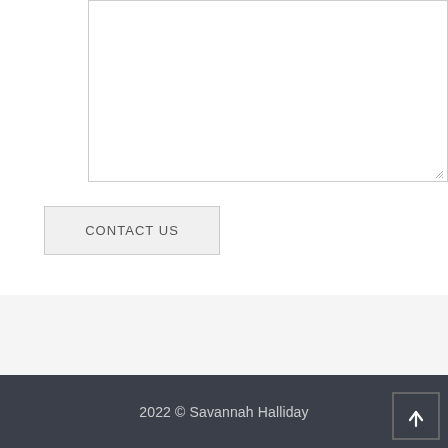[Figure (screenshot): A text area input box with a resize handle in the bottom right corner, bordered with a light gray border on a white background.]
CONTACT US
2022 © Savannah Halliday